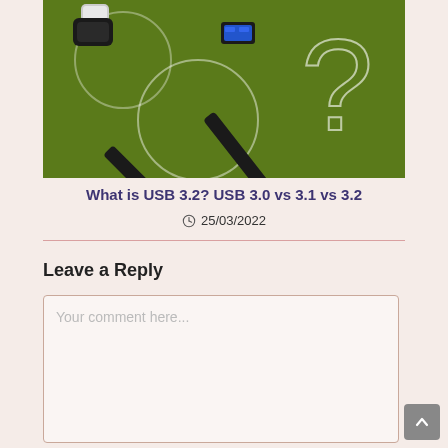[Figure (photo): Photo of two USB cables (USB-C and USB-A) on a green background with white question mark outlines]
What is USB 3.2? USB 3.0 vs 3.1 vs 3.2
25/03/2022
Leave a Reply
Your comment here...